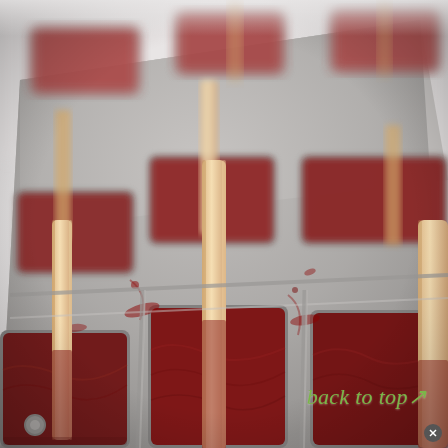[Figure (photo): A metal popsicle mold tray filled with deep red/crimson frozen fruit popsicles, with wooden sticks inserted into each mold. The molds are rectangular and arranged in a grid. The tray surface is stained with red berry juice. The photo is taken at a slight angle with shallow depth of field. Background is white/light grey.]
back to top